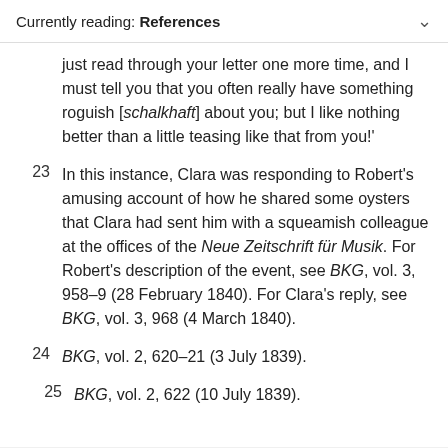Currently reading: References
just read through your letter one more time, and I must tell you that you often really have something roguish [schalkhaft] about you; but I like nothing better than a little teasing like that from you!'
23  In this instance, Clara was responding to Robert's amusing account of how he shared some oysters that Clara had sent him with a squeamish colleague at the offices of the Neue Zeitschrift für Musik. For Robert's description of the event, see BKG, vol. 3, 958–9 (28 February 1840). For Clara's reply, see BKG, vol. 3, 968 (4 March 1840).
24  BKG, vol. 2, 620–21 (3 July 1839).
25  BKG, vol. 2, 622 (10 July 1839).